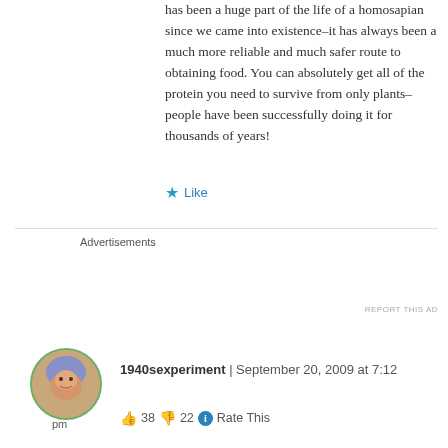has been a huge part of the life of a homosapian since we came into existence–it has always been a much more reliable and much safer route to obtaining food. You can absolutely get all of the protein you need to survive from only plants–people have been successfully doing it for thousands of years!
★ Like
[Figure (screenshot): WordPress.com advertisement banner with gradient purple/blue background. Text: 'Simplified pricing for everything you need.' with WordPress.com logo on the right.]
Advertisements
REPORT THIS AD
[Figure (photo): Circular avatar photo of a woman with colorful hair, green border circle]
pm
1940sexperiment  |  September 20, 2009 at 7:12 pm
👍 38 👎 22 ℹ Rate This